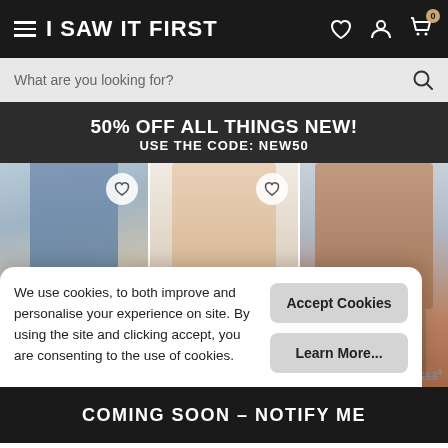≡ I SAW IT FIRST
What are you looking for?
50% OFF ALL THINGS NEW! USE THE CODE: NEW50
[Figure (photo): Three product images of women's shoes/heels side by side with heart wishlist buttons]
We use cookies, to both improve and personalise your experience on site. By using the site and clicking accept, you are consenting to the use of cookies.
Accept Cookies
Learn More...
COMING SOON – NOTIFY ME